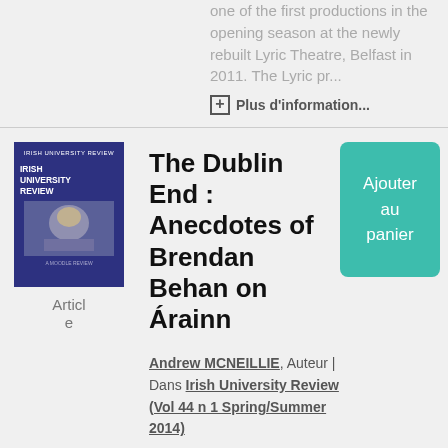one of the first productions in the opening season at the newly rebuilt Lyric Theatre, Belfast in 2011. The Lyric pr...
+ Plus d'information...
[Figure (illustration): Cover of Irish University Review journal, dark blue with a figure image]
Article
The Dublin End : Anecdotes of Brendan Behan on Árainn
Ajouter au panier
Andrew MCNEILLIE, Auteur | Dans Irish University Review (Vol 44 n 1 Spring/Summer 2014)
As John Brannigan has pointed out, the anecdote as a genre – 'a theatre of memory and an imagined community' – and here Behan is both a...